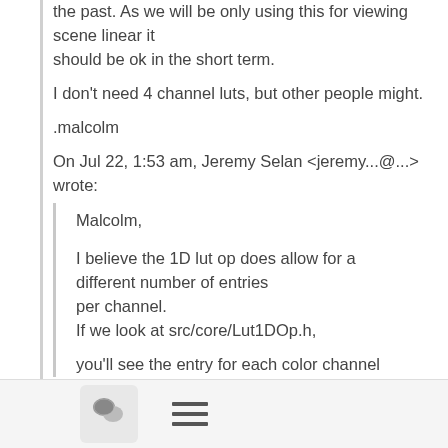the past. As we will be only using this for viewing scene linear it should be ok in the short term.
I don't need 4 channel luts, but other people might.
.malcolm
On Jul 22, 1:53 am, Jeremy Selan <jeremy...@...> wrote:
Malcolm,
I believe the 1D lut op does allow for a different number of entries per channel.
If we look at src/core/Lut1DOp.h,
you'll see the entry for each color channel
[Figure (other): Toolbar with chat bubble icon button and hamburger menu lines icon]